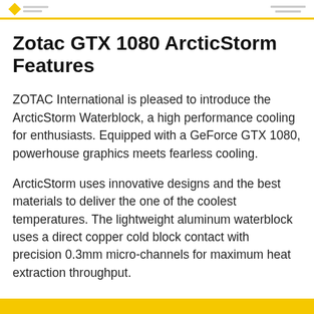Zotac logo header with yellow accent bar
Zotac GTX 1080 ArcticStorm Features
ZOTAC International is pleased to introduce the ArcticStorm Waterblock, a high performance cooling for enthusiasts. Equipped with a GeForce GTX 1080, powerhouse graphics meets fearless cooling.
ArcticStorm uses innovative designs and the best materials to deliver the one of the coolest temperatures. The lightweight aluminum waterblock uses a direct copper cold block contact with precision 0.3mm micro-channels for maximum heat extraction throughput.